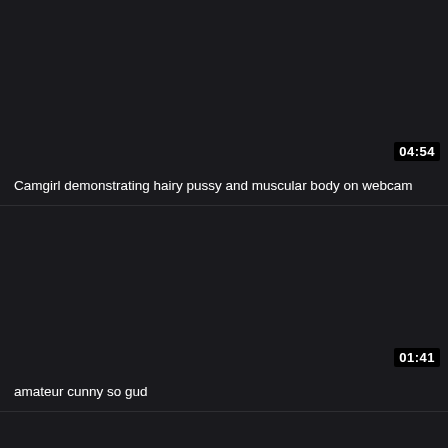[Figure (screenshot): Dark video thumbnail card 1 - blank dark area with duration badge 04:54]
Camgirl demonstrating hairy pussy and muscular body on webcam
[Figure (screenshot): Dark video thumbnail card 2 - blank dark area with duration badge 01:41]
amateur cunny so gud
[Figure (screenshot): Dark video thumbnail card 3 - blank dark area, partial]